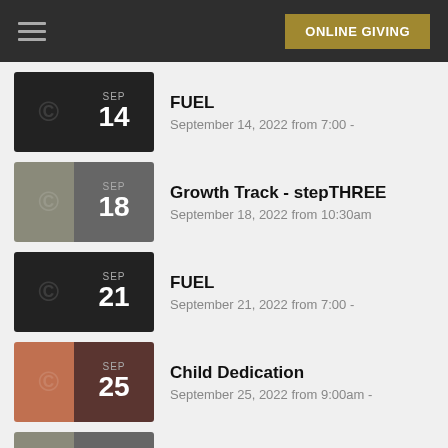ONLINE GIVING
FUEL — September 14, 2022 from 7:00 -
Growth Track - stepTHREE — September 18, 2022 from 10:30am
FUEL — September 21, 2022 from 7:00 -
Child Dedication — September 25, 2022 from 9:00am -
Growth Track - stepFOUR — September 25, 2022 from 10:30am
FUEL — September 28, 2022 from 7:00 -